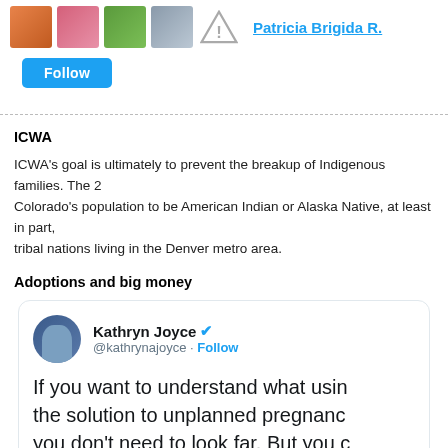[Figure (screenshot): Row of thumbnail images and a warning icon, plus a link 'Patricia Brigida R.']
[Figure (screenshot): Blue Follow button]
ICWA
ICWA's goal is ultimately to prevent the breakup of Indigenous families. The 2... Colorado's population to be American Indian or Alaska Native, at least in part,... tribal nations living in the Denver metro area.
Adoptions and big money
[Figure (screenshot): Tweet card by Kathryn Joyce (@kathrynajoyce) with verified badge and Follow button. Tweet text: 'If you want to understand what usin... the solution to unplanned pregnanc... you don't need to look far. But you c...' followed by a partial image strip.]